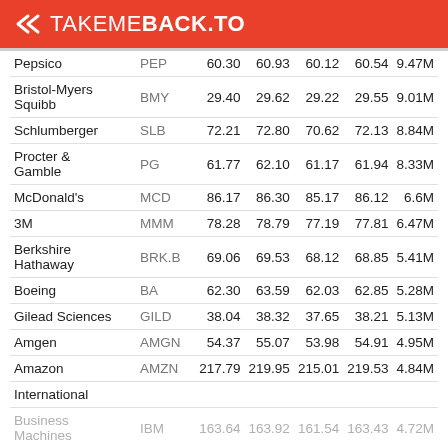TAKEMEBACK.TO
| Company | Ticker | Open | High | Low | Close | Volume |
| --- | --- | --- | --- | --- | --- | --- |
| Pepsico | PEP | 60.30 | 60.93 | 60.12 | 60.54 | 9.47M |
| Bristol-Myers Squibb | BMY | 29.40 | 29.62 | 29.22 | 29.55 | 9.01M |
| Schlumberger | SLB | 72.21 | 72.80 | 70.62 | 72.13 | 8.84M |
| Procter & Gamble | PG | 61.77 | 62.10 | 61.17 | 61.94 | 8.33M |
| McDonald's | MCD | 86.17 | 86.30 | 85.17 | 86.12 | 6.6M |
| 3M | MMM | 78.28 | 78.79 | 77.19 | 77.81 | 6.47M |
| Berkshire Hathaway | BRK.B | 69.06 | 69.53 | 68.12 | 68.85 | 5.41M |
| Boeing | BA | 62.30 | 63.59 | 62.03 | 62.85 | 5.28M |
| Gilead Sciences | GILD | 38.04 | 38.32 | 37.65 | 38.21 | 5.13M |
| Amgen | AMGN | 54.37 | 55.07 | 53.98 | 54.91 | 4.95M |
| Amazon | AMZN | 217.79 | 219.95 | 215.01 | 219.53 | 4.84M |
| International Business Machines | IBM | 163.64 | 163.92 | 161.54 | 163.43 | 4.72M |